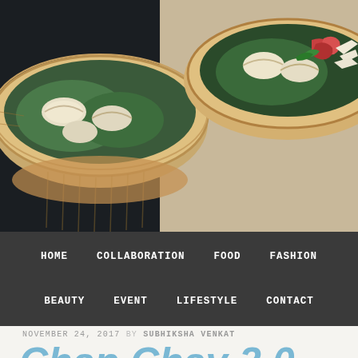[Figure (photo): Overhead photo of bamboo dim sum steamers filled with dumplings, garnished with green leaves and red vegetables]
HOME  COLLABORATION  FOOD  FASHION  BEAUTY  EVENT  LIFESTYLE  CONTACT
NOVEMBER 24, 2017 BY SUBHIKSHA VENKAT
Chap Chay 2.0
I generally avoid going to restaurants that serve Asian food.